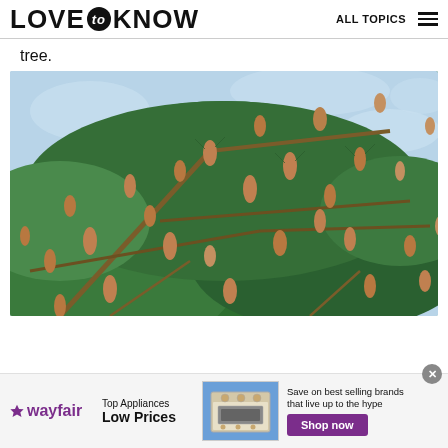LOVE to KNOW   ALL TOPICS
tree.
[Figure (photo): Close-up photograph of a hemlock or spruce tree branch covered with numerous small tan/brown pine cones hanging from dark green needled branches, with a light blue sky visible in the background.]
[Figure (infographic): Wayfair advertisement banner: 'Top Appliances Low Prices - Save on best selling brands that live up to the hype - Shop now']